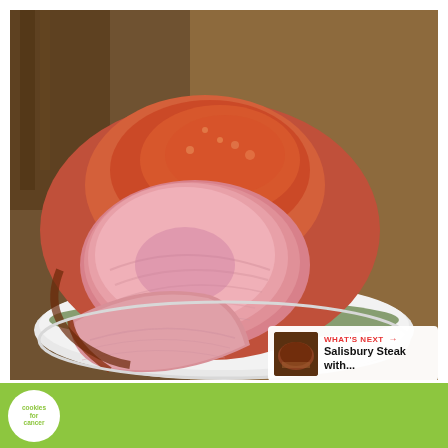[Figure (photo): A glazed ham roast on a white plate, sliced to show pink interior meat, with a caramelized brown crust on top, placed on a white serving plate with garnish]
[Figure (infographic): Heart/like button icon (red circle with white heart), count of 881, and a share button (circle with share icon)]
[Figure (photo): What's Next panel showing Salisbury Steak with small thumbnail image]
[Figure (infographic): Green advertisement banner for cookies for cancer charity reading: your HOBBY is their HOPE, with cookie logo, hands holding heart cookie, and W logo, with close X button]